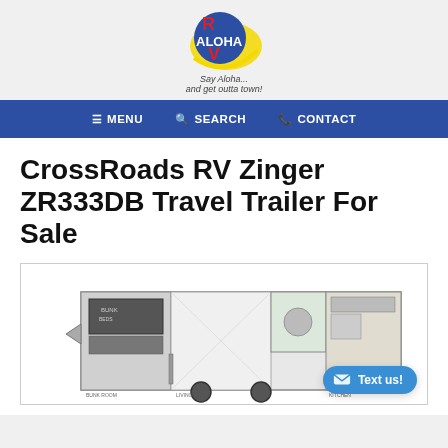[Figure (logo): Aloha RV logo with text 'Say Aloha... and get outta town!']
≡ MENU   🔍 SEARCH   📞 CONTACT
CrossRoads RV Zinger ZR333DB Travel Trailer For Sale
[Figure (other): Floor plan diagram of CrossRoads RV Zinger ZR333DB travel trailer showing room layout with label ZR333DB]